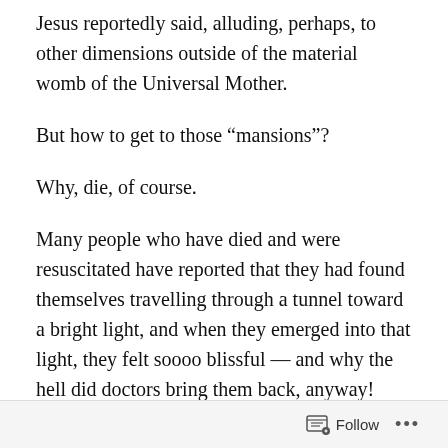Jesus reportedly said, alluding, perhaps, to other dimensions outside of the material womb of the Universal Mother.
But how to get to those “mansions”?
Why, die, of course.
Many people who have died and were resuscitated have reported that they had found themselves travelling through a tunnel toward a bright light, and when they emerged into that light, they felt soooo blissful — and why the hell did doctors bring them back, anyway!
Follow …